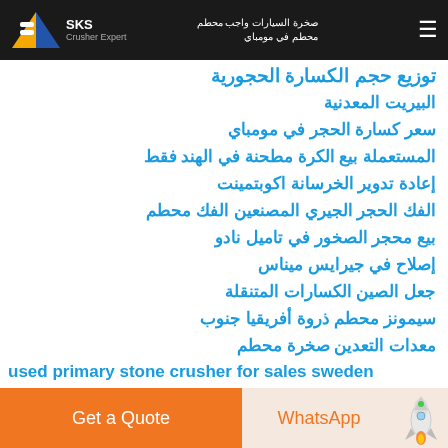SKS Crusher Export — Navigation bar with Arabic text and logo
توزيع حجم الكسارة الحجورية
البيريت المعدنية
سعر كسارة الحجر في مومباي
المستعملة بيع الكرة مطحنة في الهند فقط
إعادة تدوير الخرسانة اكوبتمينت
الفك الحجر الجيري المصنعين الفك محطم
بيع محجر الصخور في تاميل نادو
إصلاح في جيرايس ميناس
جعل الصين الكسارات المتنقلة
سيمونز محطم ذروة أفريقيا جنوب
معدات التعدين صخرة محطم
used primary stone crusher for sales sweden
iron ore crusher production line indonesia minin
Get a Quote | WhatsApp